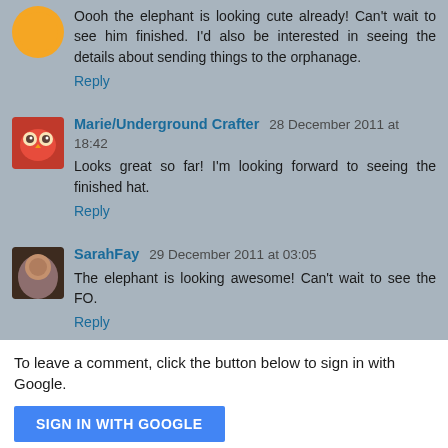Oooh the elephant is looking cute already! Can't wait to see him finished. I'd also be interested in seeing the details about sending things to the orphanage.
Reply
Marie/Underground Crafter 28 December 2011 at 18:42
Looks great so far! I'm looking forward to seeing the finished hat.
Reply
SarahFay 29 December 2011 at 03:05
The elephant is looking awesome! Can't wait to see the FO.
Reply
To leave a comment, click the button below to sign in with Google.
SIGN IN WITH GOOGLE